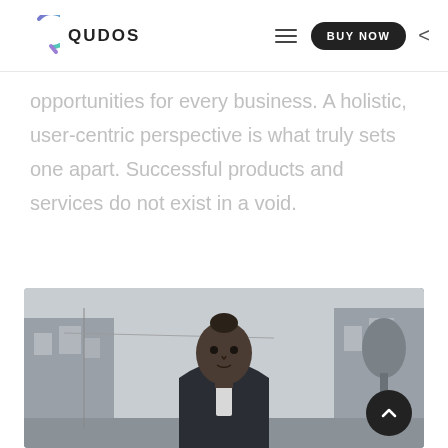QUDOS — navigation bar with logo, hamburger menu, BUY NOW button, and back arrow
opportunities for every business. A holistic, user-centric perspective is what truly sets one apart. Successful products and services do not exist in a void.
[Figure (photo): Black and white photograph of a young woman with her hair in a bun, wearing a dark blazer, standing outdoors in an urban setting with buildings and trees in the background. A dark circular scroll-up button with a chevron arrow is overlaid in the bottom-right corner of the image.]